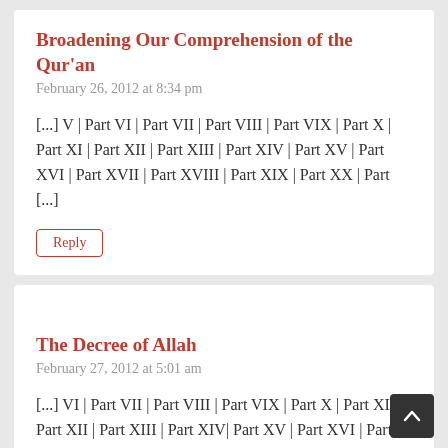Broadening Our Comprehension of the Qur'an
February 26, 2012 at 8:34 pm
[...] V | Part VI | Part VII | Part VIII | Part VIX | Part X | Part XI | Part XII | Part XIII | Part XIV | Part XV | Part XVI | Part XVII | Part XVIII | Part XIX | Part XX | Part [...]
Reply
The Decree of Allah
February 27, 2012 at 5:01 am
[...] VI | Part VII | Part VIII | Part VIX | Part X | Part XI | Part XII | Part XIII | Part XIV| Part XV | Part XVI | Part XVII | Part XVIII | Part XIX | Part XX | Pa